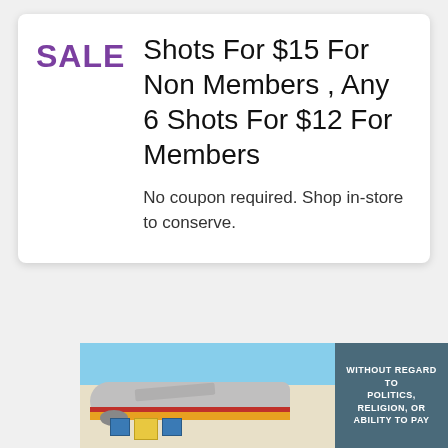Shots For $15 For Non Members , Any 6 Shots For $12 For Members
No coupon required. Shop in-store to conserve.
[Figure (photo): Advertisement banner showing an airplane being loaded with cargo on the tarmac, with a blue/grey text panel on the right reading WITHOUT REGARD TO POLITICS, RELIGION, OR ABILITY TO PAY]